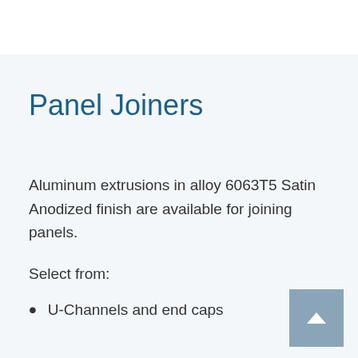Panel Joiners
Aluminum extrusions in alloy 6063T5 Satin Anodized finish are available for joining panels.
Select from:
U-Channels and end caps